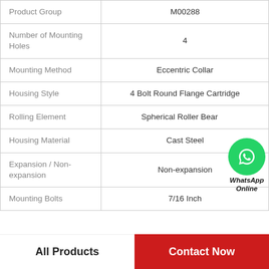| Property | Value |
| --- | --- |
| Product Group | M00288 |
| Number of Mounting Holes | 4 |
| Mounting Method | Eccentric Collar |
| Housing Style | 4 Bolt Round Flange Cartridge |
| Rolling Element | Spherical Roller Bearing |
| Housing Material | Cast Steel |
| Expansion / Non-expansion | Non-expansion |
| Mounting Bolts | 7/16 Inch |
[Figure (logo): WhatsApp Online contact badge with green phone icon]
All Products
Contact Now